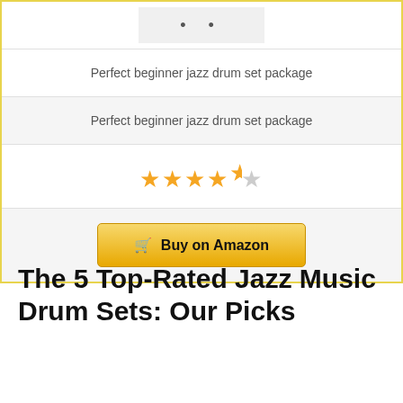[Figure (other): Partial product card with image placeholder, two rows of text, star rating, and Buy on Amazon button]
Perfect beginner jazz drum set package
Perfect beginner jazz drum set package
[Figure (other): 4.5 star rating shown as gold stars]
Buy on Amazon
The 5 Top-Rated Jazz Music Drum Sets: Our Picks